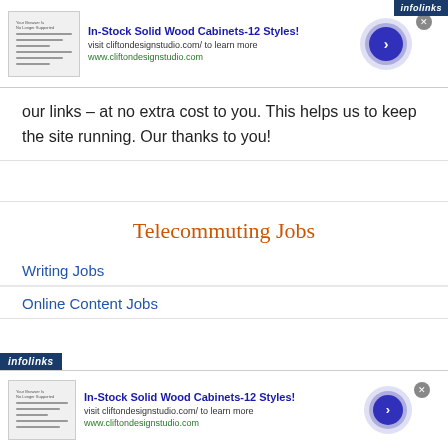[Figure (screenshot): Ad banner: In-Stock Solid Wood Cabinets-12 Styles! with thumbnail, text and arrow button. Infolinks badge top right.]
our links – at no extra cost to you. This helps us to keep the site running. Our thanks to you!
Telecommuting Jobs
Writing Jobs
Online Content Jobs
[Figure (screenshot): Bottom ad banner: In-Stock Solid Wood Cabinets-12 Styles! with thumbnail, text and arrow button. Infolinks badge bottom left.]